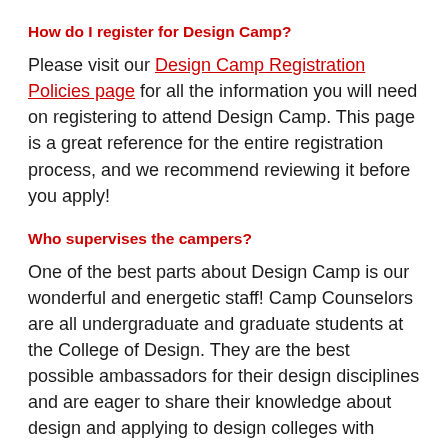How do I register for Design Camp?
Please visit our Design Camp Registration Policies page for all the information you will need on registering to attend Design Camp. This page is a great reference for the entire registration process, and we recommend reviewing it before you apply!
Who supervises the campers?
One of the best parts about Design Camp is our wonderful and energetic staff! Camp Counselors are all undergraduate and graduate students at the College of Design. They are the best possible ambassadors for their design disciplines and are eager to share their knowledge about design and applying to design colleges with camp participants.